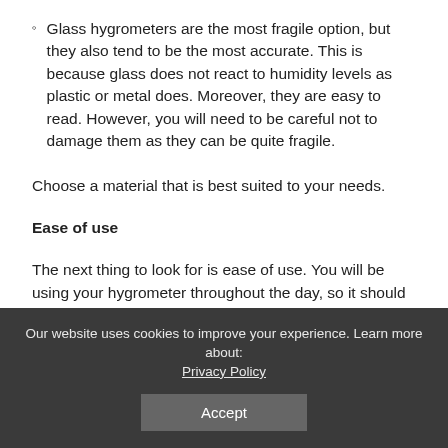Glass hygrometers are the most fragile option, but they also tend to be the most accurate. This is because glass does not react to humidity levels as plastic or metal does. Moreover, they are easy to read. However, you will need to be careful not to damage them as they can be quite fragile.
Choose a material that is best suited to your needs.
Ease of use
The next thing to look for is ease of use. You will be using your hygrometer throughout the day, so it should not cause you any additional stress or frustration.
Our website uses cookies to improve your experience. Learn more about: Privacy Policy  Accept